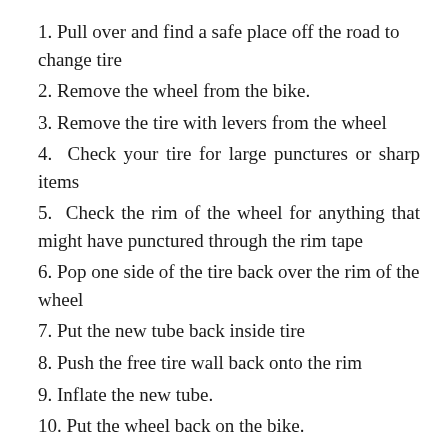1. Pull over and find a safe place off the road to change tire
2. Remove the wheel from the bike.
3. Remove the tire with levers from the wheel
4. Check your tire for large punctures or sharp items
5. Check the rim of the wheel for anything that might have punctured through the rim tape
6. Pop one side of the tire back over the rim of the wheel
7. Put the new tube back inside tire
8. Push the free tire wall back onto the rim
9. Inflate the new tube.
10. Put the wheel back on the bike.